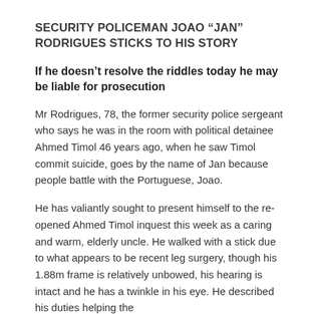SECURITY POLICEMAN JOAO “JAN” RODRIGUES STICKS TO HIS STORY
If he doesn’t resolve the riddles today he may be liable for prosecution
Mr Rodrigues, 78, the former security police sergeant who says he was in the room with political detainee Ahmed Timol 46 years ago, when he saw Timol commit suicide, goes by the name of Jan because people battle with the Portuguese, Joao.
He has valiantly sought to present himself to the re-opened Ahmed Timol inquest this week as a caring and warm, elderly uncle. He walked with a stick due to what appears to be recent leg surgery, though his 1.88m frame is relatively unbowed, his hearing is intact and he has a twinkle in his eye. He described his duties helping the